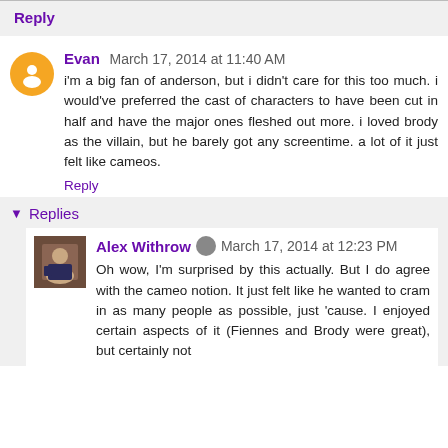Reply
Evan  March 17, 2014 at 11:40 AM
i'm a big fan of anderson, but i didn't care for this too much. i would've preferred the cast of characters to have been cut in half and have the major ones fleshed out more. i loved brody as the villain, but he barely got any screentime. a lot of it just felt like cameos.
Reply
Replies
Alex Withrow  March 17, 2014 at 12:23 PM
Oh wow, I'm surprised by this actually. But I do agree with the cameo notion. It just felt like he wanted to cram in as many people as possible, just 'cause. I enjoyed certain aspects of it (Fiennes and Brody were great), but certainly not